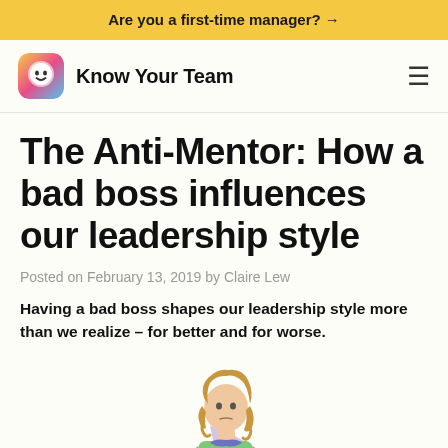Are you a first-time manager? →
Know Your Team
The Anti-Mentor: How a bad boss influences our leadership style
Posted on February 13, 2019 by Claire Lew
Having a bad boss shapes our leadership style more than we realize – for better and for worse.
[Figure (illustration): Hand-drawn illustration of a superhero woman with wavy hair, green top, and a purple cape, standing with hands on hips]